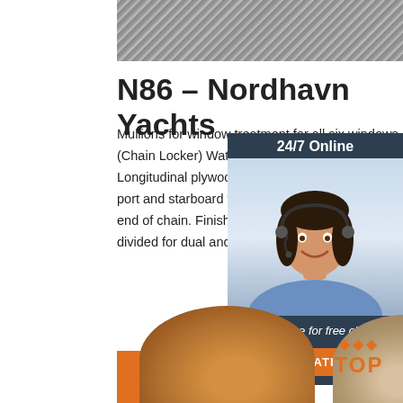[Figure (photo): Partial top image, appears to be a grayscale texture or fabric]
N86 – Nordhavn Yachts
Mullions for window treatment for all six windows. Fo (Chain Locker) Water tight collision bulkhead. Shelv Longitudinal plywood shelves with 5" (12.7 cm) fiddl port and starboard for storage. Pad eye in each lock end of chain. Finish: Painted with gray gel coat. Loc divided for dual anchors and chain
[Figure (photo): 24/7 Online chat widget with woman wearing headset, blue background, with 'Click here for free chat!' and QUOTATION button]
Get Price
[Figure (photo): Two hats at bottom of page, one tan/brown on left, one beige on right, with orange TOP badge on right side]